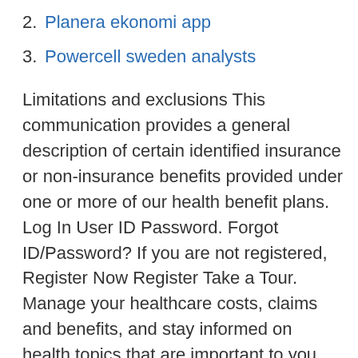2. Planera ekonomi app
3. Powercell sweden analysts
Limitations and exclusions This communication provides a general description of certain identified insurance or non-insurance benefits provided under one or more of our health benefit plans. Log In User ID Password. Forgot ID/Password? If you are not registered, Register Now Register Take a Tour. Manage your healthcare costs, claims and benefits, and stay informed on health topics that are important to you. As used in connection with insurance products and services, "Humana" is the brand name for insurance products and services provided by one or more of the Humana group of insurer and health plan subsidiary and affiliate